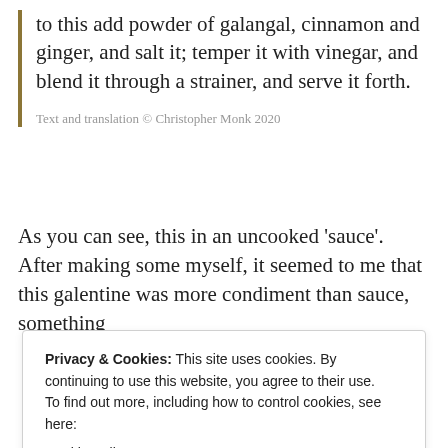to this add powder of galangal, cinnamon and ginger, and salt it; temper it with vinegar, and blend it through a strainer, and serve it forth.
Text and translation © Christopher Monk 2020
As you can see, this in an uncooked 'sauce'. After making some myself, it seemed to me that this galentine was more condiment than sauce, something
Privacy & Cookies: This site uses cookies. By continuing to use this website, you agree to their use.
To find out more, including how to control cookies, see here:
Cookie Policy

Close and accept